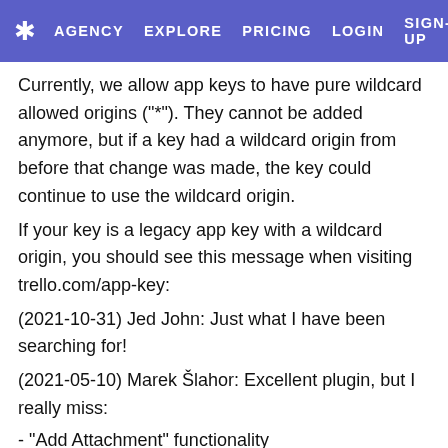✱  AGENCY  EXPLORE  PRICING  LOGIN  SIGN-UP
Currently, we allow app keys to have pure wildcard allowed origins ("*"). They cannot be added anymore, but if a key had a wildcard origin from before that change was made, the key could continue to use the wildcard origin.
If your key is a legacy app key with a wildcard origin, you should see this message when visiting trello.com/app-key:
(2021-10-31) Jed John: Just what I have been searching for!
(2021-05-10) Marek Šlahor: Excellent plugin, but I really miss:
- "Add Attachment" functionality
- "Add New List" functionality, currently it offers only existing Lists in selected Board